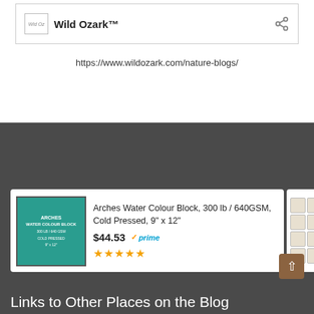[Figure (logo): Wild Ozark brand logo with handwritten-style icon and brand name, share icon on the right]
https://www.wildozark.com/nature-blogs/
[Figure (screenshot): Amazon ad: Arches Water Colour Block, 300 lb / 640GSM, Cold Pressed, 9 x 12, $44.53, Prime, 4.5 stars]
Ads by Amazon
Links to Other Places on the Blog